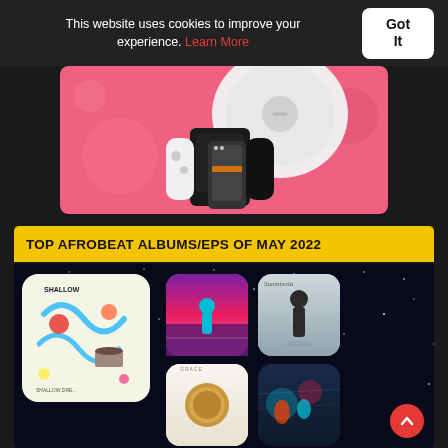This website uses cookies to improve your experience. Learn More
Got It
[Figure (photo): Advertisement banner with pink/coral gradient background showing electronic gadgets: a robot vacuum cleaner, a gaming console (Nintendo Switch OLED), a smartphone, and other electronics.]
TOP AFROBEAT ALBUMS/EPS OF MAY 2022
[Figure (photo): Grid of Afrobeat album covers on a dark starry background. Large album on left: colorful illustrated cover with text 'SHALLOW'. Top right: two smaller album covers - a pink/purple illustrated cover and a black-and-white cover of a person standing. Bottom right: two smaller album covers - a minimalist beige/gold coin cover and a dark blue/teal cover with a person.]